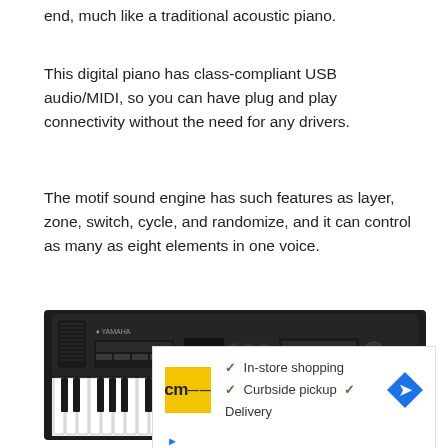end, much like a traditional acoustic piano.
This digital piano has class-compliant USB audio/MIDI, so you can have plug and play connectivity without the need for any drivers.
The motif sound engine has such features as layer, zone, switch, cycle, and randomize, and it can control as many as eight elements in one voice.
[Figure (photo): Yamaha MX88 digital piano/synthesizer keyboard, black, showing the top panel with controls and the full keyboard.]
[Figure (infographic): Advertisement banner for a store offering: In-store shopping, Curbside pickup, Delivery. Shows CM logo in yellow, checkmarks, and a navigation arrow icon.]